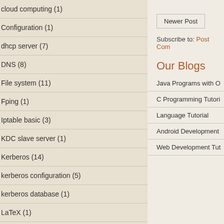cloud computing (1)
Configuration (1)
dhcp server (7)
DNS (8)
File system (11)
Fping (1)
Iptable basic (3)
KDC slave server (1)
Kerberos (14)
kerberos configuration (5)
kerberos database (1)
LaTeX (1)
Ldap basic (2)
Linux aliases (1)
Linux Commands (4)
Newer Post
Subscribe to: Post Com
Our Blogs
Java Programs with O
C Programming Tutori
Language Tutorial
Android Development
Web Development Tut